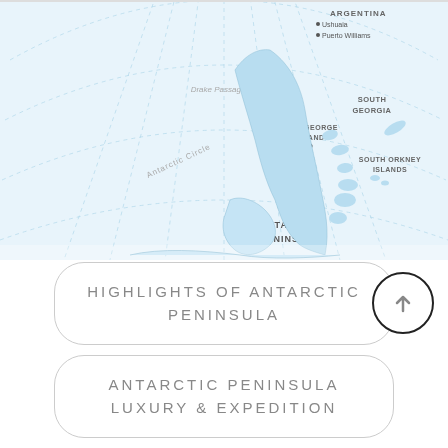[Figure (map): Map of the Antarctic Peninsula region showing Argentina (Ushuaia, Puerto Williams), Drake Passage, King George Island, South Georgia, South Orkney Islands, Antarctic Circle, and the Antarctic Peninsula landmass. Light blue background with dashed meridian/parallel lines.]
HIGHLIGHTS OF ANTARCTIC PENINSULA
ANTARCTIC PENINSULA LUXURY & EXPEDITION